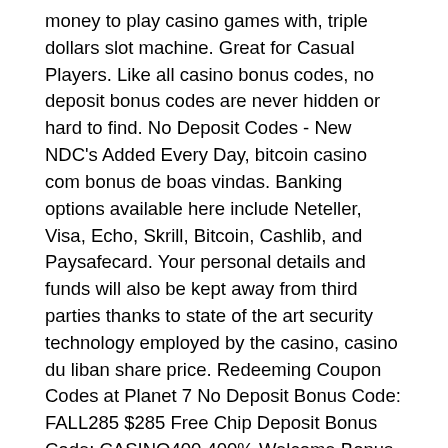money to play casino games with, triple dollars slot machine. Great for Casual Players. Like all casino bonus codes, no deposit bonus codes are never hidden or hard to find. No Deposit Codes - New NDC's Added Every Day, bitcoin casino com bonus de boas vindas. Banking options available here include Neteller, Visa, Echo, Skrill, Bitcoin, Cashlib, and Paysafecard. Your personal details and funds will also be kept away from third parties thanks to state of the art security technology employed by the casino, casino du liban share price. Redeeming Coupon Codes at Planet 7 No Deposit Bonus Code: FALL285 $285 Free Chip Deposit Bonus Code: CASINO400 400% Welcome Bonus No, enzo casino bonus code 2022. Chumba Casino No Deposit Bonus Codes 2021 & Free Spins. Processing times for an online casino with low deposit are usually compliant with